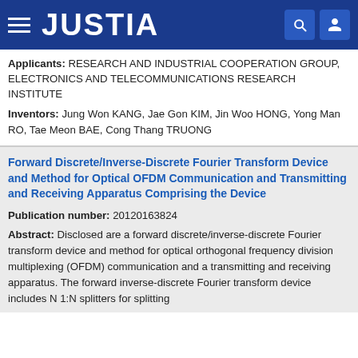JUSTIA
Applicants: RESEARCH AND INDUSTRIAL COOPERATION GROUP, ELECTRONICS AND TELECOMMUNICATIONS RESEARCH INSTITUTE
Inventors: Jung Won KANG, Jae Gon KIM, Jin Woo HONG, Yong Man RO, Tae Meon BAE, Cong Thang TRUONG
Forward Discrete/Inverse-Discrete Fourier Transform Device and Method for Optical OFDM Communication and Transmitting and Receiving Apparatus Comprising the Device
Publication number: 20120163824
Abstract: Disclosed are a forward discrete/inverse-discrete Fourier transform device and method for optical orthogonal frequency division multiplexing (OFDM) communication and a transmitting and receiving apparatus. The forward inverse-discrete Fourier transform device includes N 1:N splitters for splitting